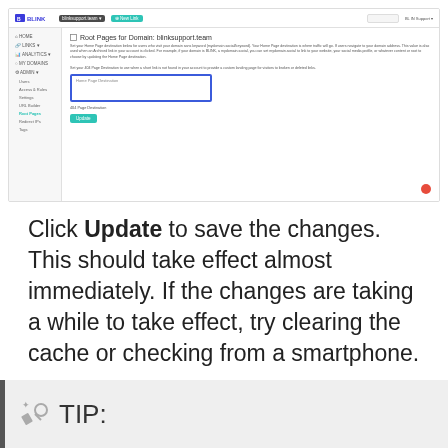[Figure (screenshot): Screenshot of BLINK application showing 'Root Pages for Domain: blinksupport.team' page with navigation sidebar, Home Page Destination input field with blue border, 404 Page Destination label, and Update button. Red FAB button visible at bottom right.]
Click Update to save the changes. This should take effect almost immediately. If the changes are taking a while to take effect, try clearing the cache or checking from a smartphone.
TIP: